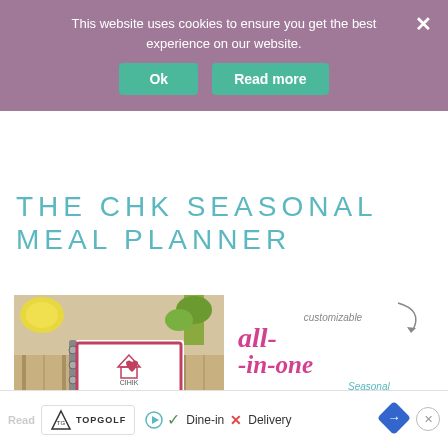This website uses cookies to ensure you get the best experience on our website.
Ok   Read more
THE CHK SEASONAL MEAL PLANNER
[Figure (photo): Photo of CHK Seasonal Meal Planner notebook on a kitchen table with fruits and a wooden spoon]
[Figure (infographic): Promotional graphic: customizable all-in-one Seasonal Meal Planner, click HERE to learn MORE]
[Figure (screenshot): Ad bar at bottom: Topgolf ad with Dine-in checkmark and Delivery X marks]